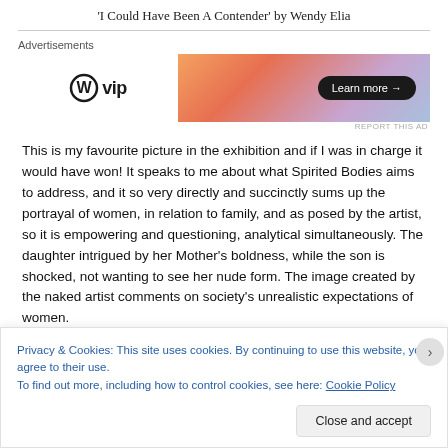'I Could Have Been A Contender' by Wendy Elia
[Figure (other): WordPress VIP advertisement banner with orange/purple gradient and 'Learn more' button]
This is my favourite picture in the exhibition and if I was in charge it would have won! It speaks to me about what Spirited Bodies aims to address, and it so very directly and succinctly sums up the portrayal of women, in relation to family, and as posed by the artist, so it is empowering and questioning, analytical simultaneously. The daughter intrigued by her Mother's boldness, while the son is shocked, not wanting to see her nude form. The image created by the naked artist comments on society's unrealistic expectations of women.
Privacy & Cookies: This site uses cookies. By continuing to use this website, you agree to their use.
To find out more, including how to control cookies, see here: Cookie Policy